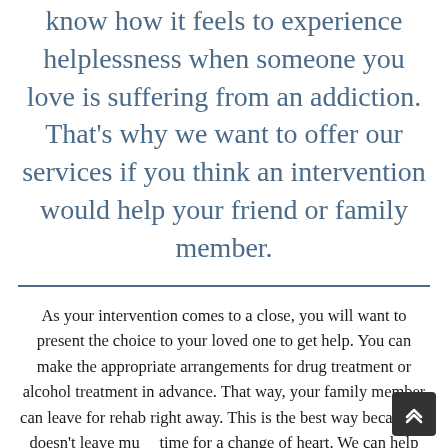know how it feels to experience helplessness when someone you love is suffering from an addiction. That's why we want to offer our services if you think an intervention would help your friend or family member.
As your intervention comes to a close, you will want to present the choice to your loved one to get help. You can make the appropriate arrangements for drug treatment or alcohol treatment in advance. That way, your family member can leave for rehab right away. This is the best way because it doesn't leave much time for a change of heart. We can help you make